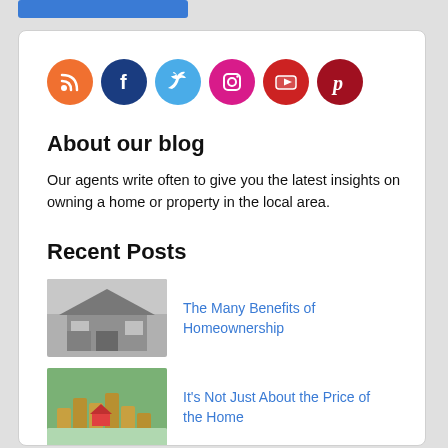[Figure (other): Social media icon row: RSS (orange), Facebook (dark blue), Twitter (light blue), Instagram (pink/magenta), YouTube (red), Pinterest (dark red)]
About our blog
Our agents write often to give you the latest insights on owning a home or property in the local area.
Recent Posts
[Figure (photo): Grayscale photo of a stone house exterior]
The Many Benefits of Homeownership
[Figure (photo): Photo of small wooden houses and coins on a blurred green background]
It's Not Just About the Price of the Home
[Figure (photo): Photo partially visible at bottom of page]
Sellers Are Returning to the